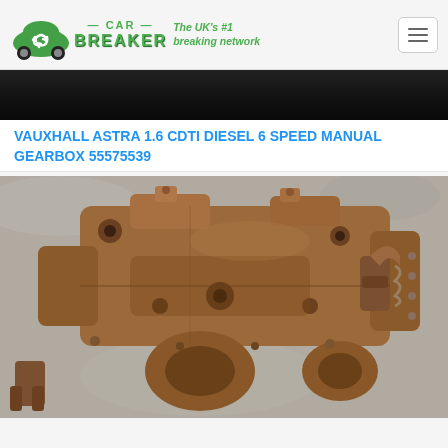CAR BREAKER — The UK's #1 breaking network
[Figure (photo): Partial photo of a Vauxhall Astra gearbox at top, cropped, dark background]
VAUXHALL ASTRA 1.6 CDTI DIESEL 6 SPEED MANUAL GEARBOX 55575539
[Figure (photo): Photo of a used Vauxhall Astra 1.6 CDTI 6-speed manual gearbox, rust-colored cast iron, on a grey concrete surface]